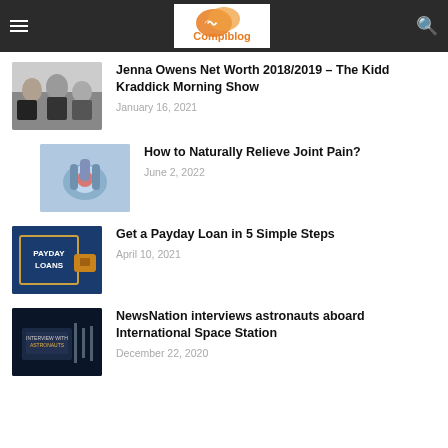Compiblog
Jenna Owens Net Worth 2018/2019 – The Kidd Kraddick Morning Show
January 16, 2021
How to Naturally Relieve Joint Pain?
June 2, 2022
Get a Payday Loan in 5 Simple Steps
April 10, 2021
NewsNation interviews astronauts aboard International Space Station
December 22, 2020